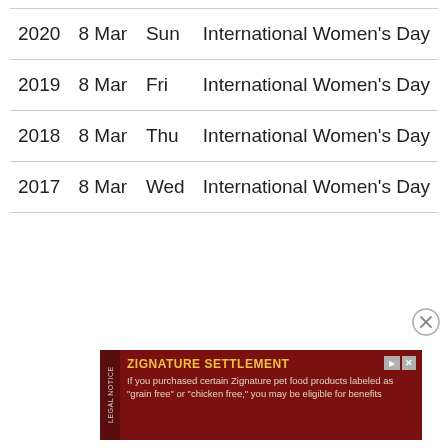| Year | Date | Day | Holiday |
| --- | --- | --- | --- |
| 2020 | 8 Mar | Sun | International Women's Day |
| 2019 | 8 Mar | Fri | International Women's Day |
| 2018 | 8 Mar | Thu | International Women's Day |
| 2017 | 8 Mar | Wed | International Women's Day |
[Figure (other): Close/dismiss button (circle with X)]
[Figure (infographic): Advertisement banner: ZIGNATURE SETTLEMENT - legal notice ad with dark red background, yellow title, and body text about grain free or chicken free pet food class action settlement.]